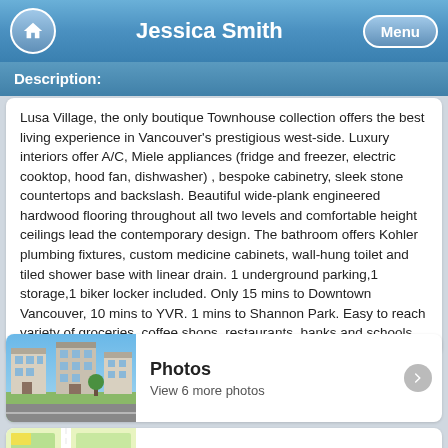Jessica Smith
Description:
Lusa Village, the only boutique Townhouse collection offers the best living experience in Vancouver's prestigious west-side. Luxury interiors offer A/C, Miele appliances (fridge and freezer, electric cooktop, hood fan, dishwasher) , bespoke cabinetry, sleek stone countertops and backslash. Beautiful wide-plank engineered hardwood flooring throughout all two levels and comfortable height ceilings lead the contemporary design. The bathroom offers Kohler plumbing fixtures, custom medicine cabinets, wall-hung toilet and tiled shower base with linear drain. 1 underground parking,1 storage,1 biker locker included. Only 15 mins to Downtown Vancouver, 10 mins to YVR. 1 mins to Shannon Park. Easy to reach variety of groceries, coffee shops, restaurants, banks and schools.
[Figure (photo): Thumbnail photo of a townhouse building exterior]
Photos
View 6 more photos
[Figure (map): Map thumbnail showing street map with location marker]
View on Map
5 7709 GRANVILLE STREET, Vancouver